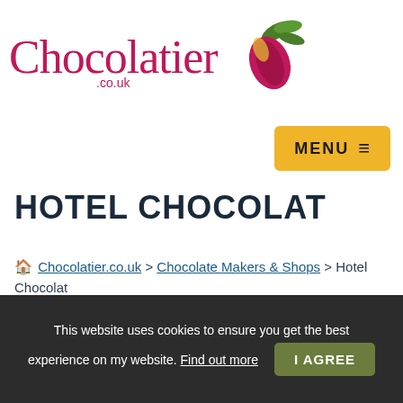[Figure (logo): Chocolatier.co.uk logo with cursive red text and cocoa pod icon in green/red/yellow]
MENU ≡
HOTEL CHOCOLAT
🏠 Chocolatier.co.uk > Chocolate Makers & Shops > Hotel Chocolat
Disclosure: This page may contain affiliate links (identified by a º symbol). These financially support this website – and our chocolate research – at no extra cost to you. Find out more
This website uses cookies to ensure you get the best experience on my website. Find out more  I AGREE
Back in 2004, Hotel Chocolat opened a shop in